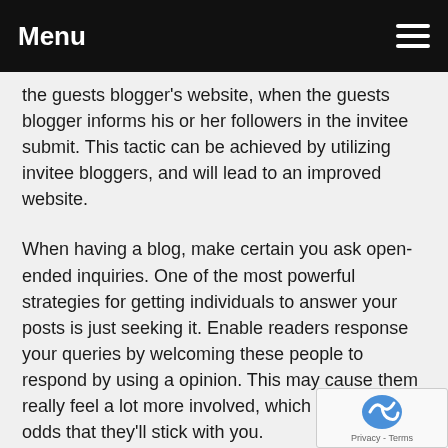Menu
the guests blogger's website, when the guests blogger informs his or her followers in the invitee submit. This tactic can be achieved by utilizing invitee bloggers, and will lead to an improved website.
When having a blog, make certain you ask open-ended inquiries. One of the most powerful strategies for getting individuals to answer your posts is just seeking it. Enable readers response your queries by welcoming these people to respond by using a opinion. This may cause them really feel a lot more involved, which boosts the odds that they'll stick with you.
Use databases within your articles or content. click w... are important regardless of whether your blog site is a... dishes and cooking food, or be it about what you need for